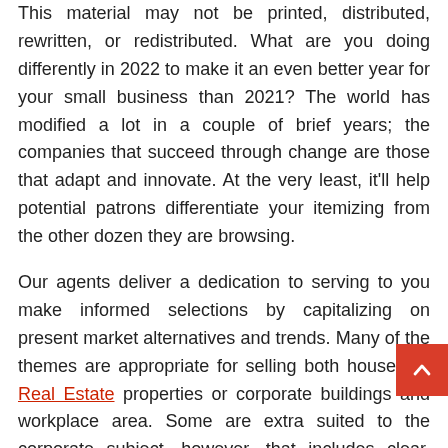This material may not be printed, distributed, rewritten, or redistributed. What are you doing differently in 2022 to make it an even better year for your small business than 2021? The world has modified a lot in a couple of brief years; the companies that succeed through change are those that adapt and innovate. At the very least, it'll help potential patrons differentiate your itemizing from the other dozen they are browsing.
Our agents deliver a dedication to serving to you make informed selections by capitalizing on present market alternatives and trends. Many of the themes are appropriate for selling both household Real Estate properties or corporate buildings and workplace area. Some are extra suited to the corporate subject, however, that includes clear, elegant designs and muted colour palette.
In addition to particular person REITs, you can also